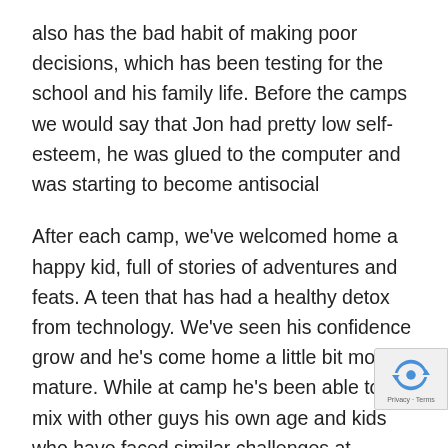also has the bad habit of making poor decisions, which has been testing for the school and his family life. Before the camps we would say that Jon had pretty low self-esteem, he was glued to the computer and was starting to become antisocial
After each camp, we've welcomed home a happy kid, full of stories of adventures and feats. A teen that has had a healthy detox from technology. We've seen his confidence grow and he's come home a little bit more mature. While at camp he's been able to mix with other guys his own age and kids who have faced similar challenges at school. He's had his social skills tested, which has resulted in him having